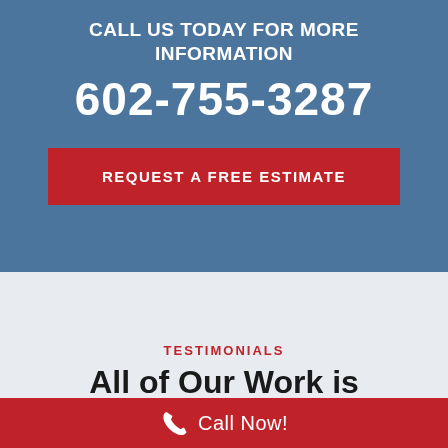CALL US TODAY FOR MORE INFORMATION
602-755-3287
REQUEST A FREE ESTIMATE
TESTIMONIALS
All of Our Work is
Call Now!